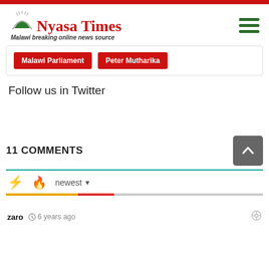Nyasa Times – Malawi breaking online news source
Malawi Parliament
Peter Mutharika
Follow us in Twitter
11 COMMENTS
newest
zaro  6 years ago